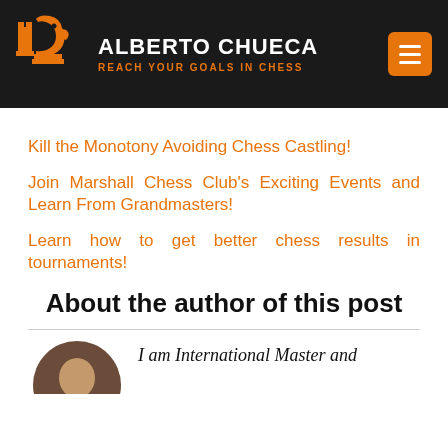ALBERTO CHUECA — REACH YOUR GOALS IN CHESS
Kill the Monotony Avoiding Chess Castling!
Join Marshall Chess Club's Exciting Events and Learn From Grandmasters!
Learn how to get better chess results in tournaments!
About the author of this post
I am International Master and